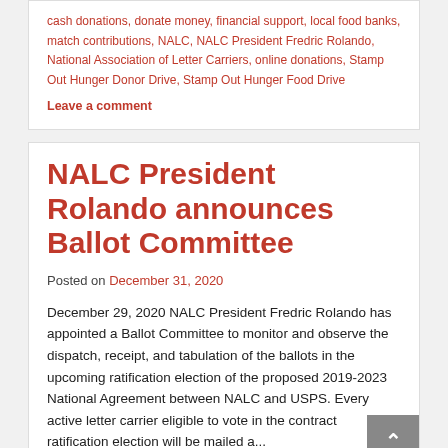cash donations, donate money, financial support, local food banks, match contributions, NALC, NALC President Fredric Rolando, National Association of Letter Carriers, online donations, Stamp Out Hunger Donor Drive, Stamp Out Hunger Food Drive
Leave a comment
NALC President Rolando announces Ballot Committee
Posted on December 31, 2020
December 29, 2020 NALC President Fredric Rolando has appointed a Ballot Committee to monitor and observe the dispatch, receipt, and tabulation of the ballots in the upcoming ratification election of the proposed 2019-2023 National Agreement between NALC and USPS. Every active letter carrier eligible to vote in the contract ratification election will be mailed a...